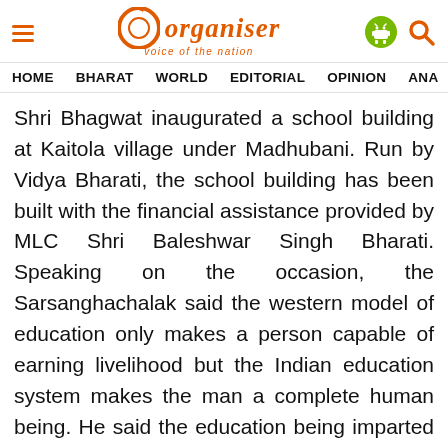Organiser – voice of the nation
HOME  BHARAT  WORLD  EDITORIAL  OPINION  ANA
Shri Bhagwat inaugurated a school building at Kaitola village under Madhubani. Run by Vidya Bharati, the school building has been built with the financial assistance provided by MLC Shri Baleshwar Singh Bharati. Speaking on the occasion, the Sarsanghachalak said the western model of education only makes a person capable of earning livelihood but the Indian education system makes the man a complete human being. He said the education being imparted by Vidya Bharati schools involves all the basic Indian traditions.
On July 15 Shri Bhagwat performed guru pujan at Kamla Nehru Library of Darbhanga. Speaking on the